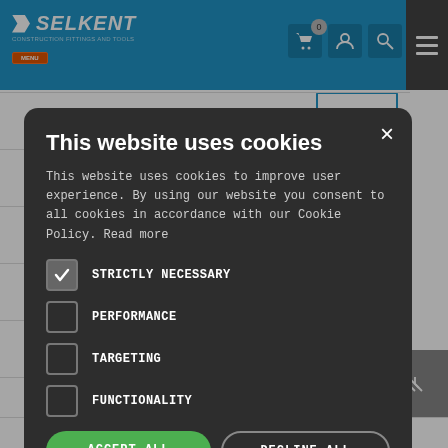[Figure (screenshot): Selkent website header navigation bar with blue background, logo, cart icon with 0 badge, user icon, search icon, and hamburger menu]
[Figure (screenshot): Cookie consent modal dialog on dark background with title 'This website uses cookies', body text, checkboxes for STRICTLY NECESSARY (checked), PERFORMANCE, TARGETING, FUNCTIONALITY, with ACCEPT ALL and DECLINE ALL buttons and SHOW DETAILS link]
This website uses cookies
This website uses cookies to improve user experience. By using our website you consent to all cookies in accordance with our Cookie Policy. Read more
STRICTLY NECESSARY (checked)
PERFORMANCE
TARGETING
FUNCTIONALITY
ACCEPT ALL
DECLINE ALL
SHOW DETAILS
£11.36 (inc VAT) per HUND